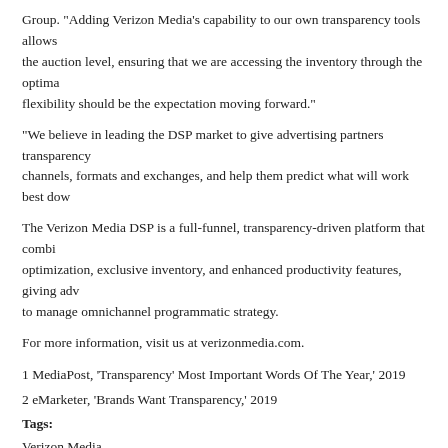Group. “Adding Verizon Media’s capability to our own transparency tools allows the auction level, ensuring that we are accessing the inventory through the optima flexibility should be the expectation moving forward.”
“We believe in leading the DSP market to give advertising partners transparency channels, formats and exchanges, and help them predict what will work best dow
The Verizon Media DSP is a full-funnel, transparency-driven platform that combi optimization, exclusive inventory, and enhanced productivity features, giving adv to manage omnichannel programmatic strategy.
For more information, visit us at verizonmedia.com.
1 MediaPost, ‘Transparency’ Most Important Words Of The Year,’ 2019
2 eMarketer, ‘Brands Want Transparency,’ 2019
Tags:
Verizon Media
[Figure (infographic): Social sharing icons row: Facebook (blue), Twitter (blue), LinkedIn (blue), Email (dark), Print (dark), Share/Plus (red)]
PR Archives: Latest,  By Company,  By Date